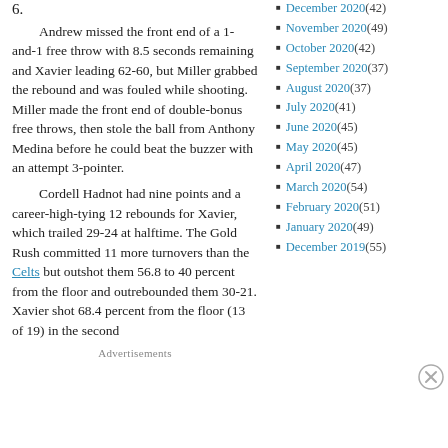6.
Andrew missed the front end of a 1-and-1 free throw with 8.5 seconds remaining and Xavier leading 62-60, but Miller grabbed the rebound and was fouled while shooting. Miller made the front end of double-bonus free throws, then stole the ball from Anthony Medina before he could beat the buzzer with an attempt 3-pointer.
Cordell Hadnot had nine points and a career-high-tying 12 rebounds for Xavier, which trailed 29-24 at halftime. The Gold Rush committed 11 more turnovers than the Celts but outshot them 56.8 to 40 percent from the floor and outrebounded them 30-21. Xavier shot 68.4 percent from the floor (13 of 19) in the second
Advertisements
December 2020 (42)
November 2020 (49)
October 2020 (42)
September 2020 (37)
August 2020 (37)
July 2020 (41)
June 2020 (45)
May 2020 (45)
April 2020 (47)
March 2020 (54)
February 2020 (51)
January 2020 (49)
December 2019 (55)